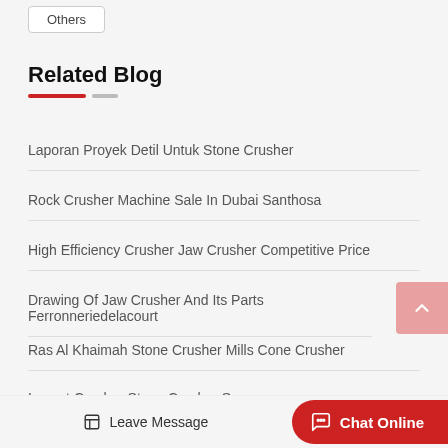Others
Related Blog
Laporan Proyek Detil Untuk Stone Crusher
Rock Crusher Machine Sale In Dubai Santhosa
High Efficiency Crusher Jaw Crusher Competitive Price
Drawing Of Jaw Crusher And Its Parts Ferronneriedelacourt
Ras Al Khaimah Stone Crusher Mills Cone Crusher
Impact Crusher Stone Crusher S…
Leave Message
Chat Online